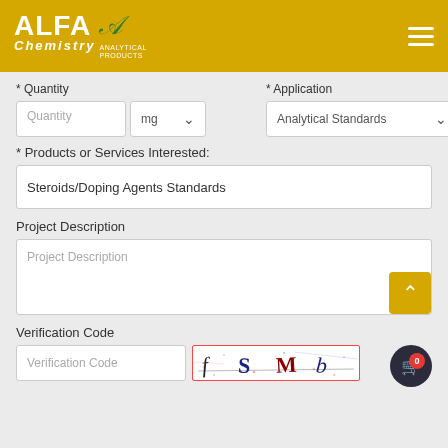[Figure (logo): Alfa Chemistry Analytical Products logo on yellow/golden header bar with hamburger menu icon]
* Quantity
* Application
Quantity | mg ▾ | Analytical Standards ▾
* Products or Services Interested:
Steroids/Doping Agents Standards
Project Description
Project Description
Verification Code
Verification Code
[Figure (other): CAPTCHA image showing handwritten letters f S M b]